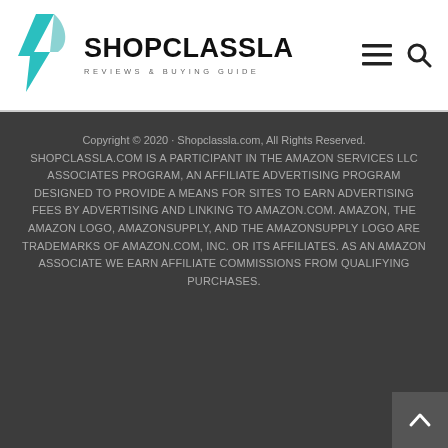[Figure (logo): ShopClassLA logo with teal lightning bolt/checkmark icon and text 'SHOPCLASSLA' in bold black with tagline 'REVIEWS & BUYING GUIDE']
SHOPCLASSLA - REVIEWS & BUYING GUIDE
Copyright © 2020 · Shopclassla.com, All Rights Reserved. SHOPCLASSLA.COM IS A PARTICIPANT IN THE AMAZON SERVICES LLC ASSOCIATES PROGRAM, AN AFFILIATE ADVERTISING PROGRAM DESIGNED TO PROVIDE A MEANS FOR SITES TO EARN ADVERTISING FEES BY ADVERTISING AND LINKING TO AMAZON.COM. AMAZON, THE AMAZON LOGO, AMAZONSUPPLY, AND THE AMAZONSUPPLY LOGO ARE TRADEMARKS OF AMAZON.COM, INC. OR ITS AFFILIATES. AS AN AMAZON ASSOCIATE WE EARN AFFILIATE COMMISSIONS FROM QUALIFYING PURCHASES.